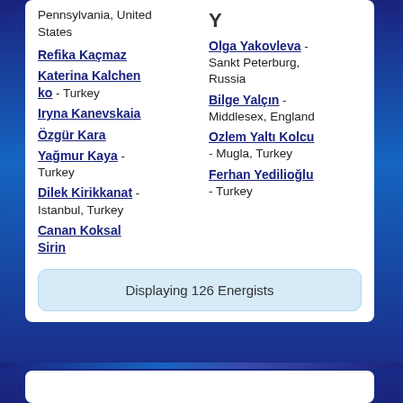Pennsylvania, United States
Refika Kaçmaz
Katerina Kalchenko - Turkey
Y
Iryna Kanevskaia
Özgür Kara
Yağmur Kaya - Turkey
Olga Yakovleva - Sankt Peterburg, Russia
Dilek Kirikkanat - Istanbul, Turkey
Bilge Yalçın - Middlesex, England
Canan Koksal Sirin
Ozlem Yaltı Kolcu - Mugla, Turkey
Ferhan Yedilioğlu - Turkey
Displaying 126 Energists